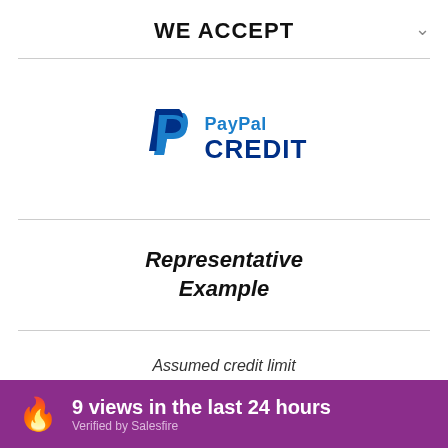WE ACCEPT
[Figure (logo): PayPal Credit logo with blue P icon and two-tone blue text]
Representative Example
Assumed credit limit £1,200
9 views in the last 24 hours Verified by Salesfire